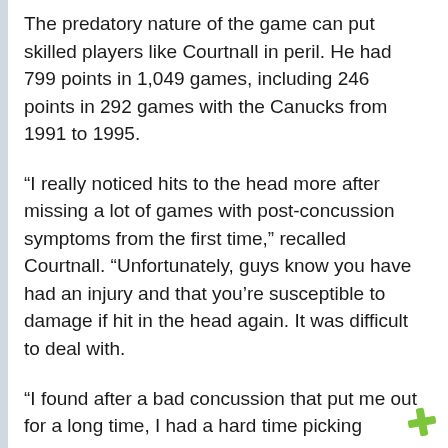The predatory nature of the game can put skilled players like Courtnall in peril. He had 799 points in 1,049 games, including 246 points in 292 games with the Canucks from 1991 to 1995.
“I really noticed hits to the head more after missing a lot of games with post-concussion symptoms from the first time,” recalled Courtnall. “Unfortunately, guys know you have had an injury and that you’re susceptible to damage if hit in the head again. It was difficult to deal with.
“I found after a bad concussion that put me out for a long time, I had a hard time picking